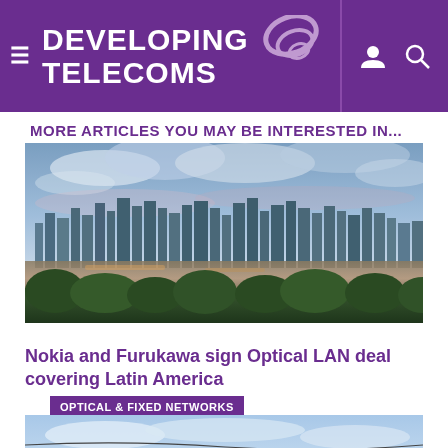DEVELOPING TELECOMS
MORE ARTICLES YOU MAY BE INTERESTED IN...
[Figure (photo): Aerial cityscape at dusk with a river and lush green trees in the foreground, tall buildings in the background under a cloudy sky]
Nokia and Furukawa sign Optical LAN deal covering Latin America
OPTICAL & FIXED NETWORKS
[Figure (photo): Blue sky with power/telephone lines crossing diagonally]